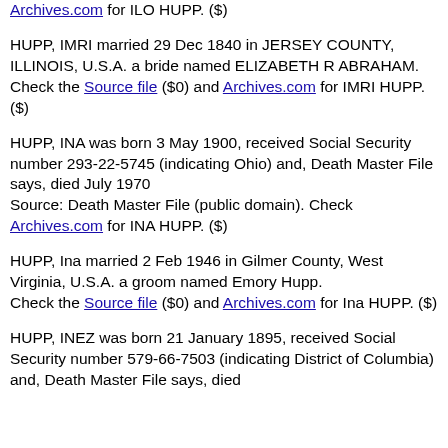Archives.com for ILO HUPP. ($)
HUPP, IMRI married 29 Dec 1840 in JERSEY COUNTY, ILLINOIS, U.S.A. a bride named ELIZABETH R ABRAHAM. Check the Source file ($0) and Archives.com for IMRI HUPP. ($)
HUPP, INA was born 3 May 1900, received Social Security number 293-22-5745 (indicating Ohio) and, Death Master File says, died July 1970 Source: Death Master File (public domain). Check Archives.com for INA HUPP. ($)
HUPP, Ina married 2 Feb 1946 in Gilmer County, West Virginia, U.S.A. a groom named Emory Hupp. Check the Source file ($0) and Archives.com for Ina HUPP. ($)
HUPP, INEZ was born 21 January 1895, received Social Security number 579-66-7503 (indicating District of Columbia) and, Death Master File says, died